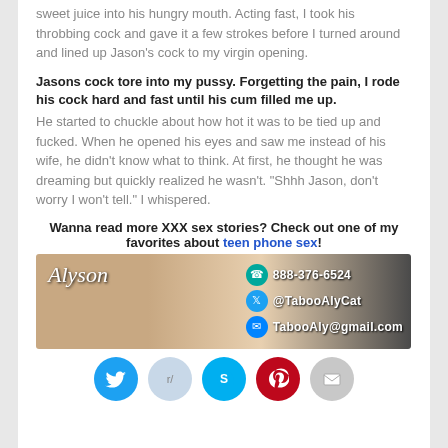sweet juice into his hungry mouth. Acting fast, I took his throbbing cock and gave it a few strokes before I turned around and lined up Jason's cock to my virgin opening.
Jasons cock tore into my pussy. Forgetting the pain, I rode his cock hard and fast until his cum filled me up. He started to chuckle about how hot it was to be tied up and fucked. When he opened his eyes and saw me instead of his wife, he didn't know what to think. At first, he thought he was dreaming but quickly realized he wasn't. "Shhh Jason, don't worry I won't tell." I whispered.
Wanna read more XXX sex stories? Check out one of my favorites about teen phone sex!
[Figure (photo): Promotional banner for Alyson showing contact info: 888-376-6524, @TabooAlyCat, TabooAly@gmail.com]
[Figure (infographic): Social sharing buttons row: Twitter, Reddit, Skype, Pinterest, Email]